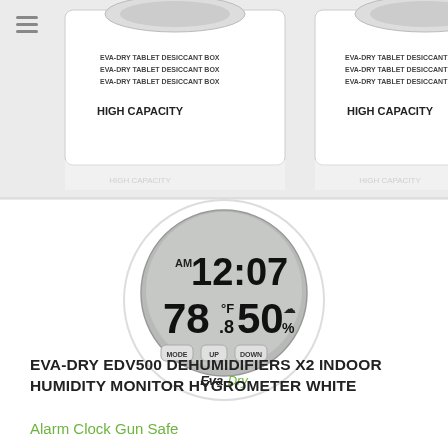[Figure (photo): Two white Eva-Dry EDV500 dehumidifier boxes labeled 'HIGH CAPACITY' shown partially cropped at top of page, with reflections visible below them on a white surface. Light gray background.]
[Figure (photo): Round white Eva-Dry digital hygrometer/thermometer/clock device displaying 12:07 AM, 78.8°F temperature, 50% humidity, with MODE, UP, DOWN buttons on the face. Eva-Dry logo at bottom of device.]
EVA-DRY EDV500 DEHUMIDIFIERS X2 INDOOR HUMIDITY MONITOR HYGROMETER WHITE
Alarm Clock Gun Safe